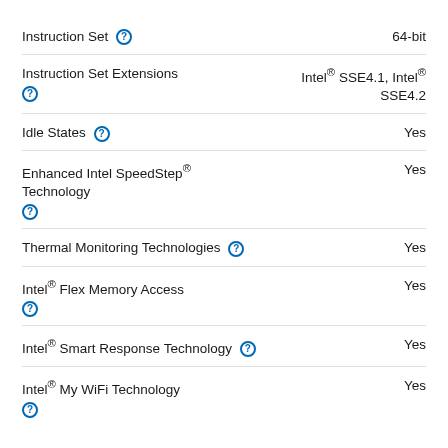| Feature | Value |
| --- | --- |
| Instruction Set ? | 64-bit |
| Instruction Set Extensions ? | Intel® SSE4.1, Intel® SSE4.2 |
| Idle States ? | Yes |
| Enhanced Intel SpeedStep® Technology ? | Yes |
| Thermal Monitoring Technologies ? | Yes |
| Intel® Flex Memory Access ? | Yes |
| Intel® Smart Response Technology ? | Yes |
| Intel® My WiFi Technology ? | Yes |